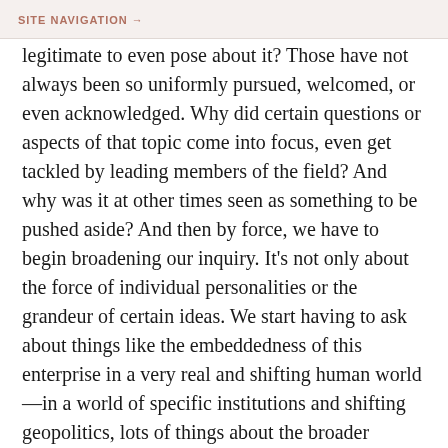SITE NAVIGATION →
legitimate to even pose about it? Those have not always been so uniformly pursued, welcomed, or even acknowledged. Why did certain questions or aspects of that topic come into focus, even get tackled by leading members of the field? And why was it at other times seen as something to be pushed aside? And then by force, we have to begin broadening our inquiry. It's not only about the force of individual personalities or the grandeur of certain ideas. We start having to ask about things like the embeddedness of this enterprise in a very real and shifting human world—in a world of specific institutions and shifting geopolitics, lots of things about the broader framing within which we try to learn about nature. Those start to help us make sense of this shifting terrain of which questions get counted as legitimate. I